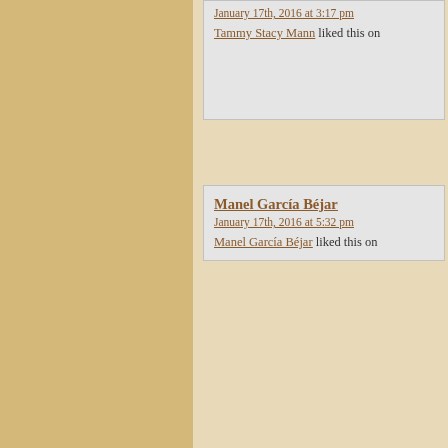January 17th, 2016 at 3:17 pm — Tammy Stacy Mann liked this on
Manel García Béjar — January 17th, 2016 at 5:32 pm — Manel García Béjar liked this on
Tony Esposito — January 17th, 2016 at 5:32 pm — Tony Esposito liked this on Face...
Shawn K. Hall — January 17th, 2016 at 9:46 pm — Shawn K. Hall liked this on Face...